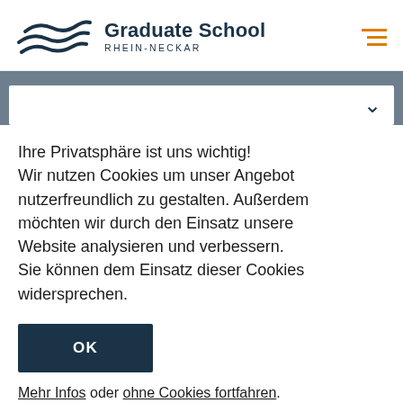[Figure (logo): Graduate School Rhein-Neckar logo with stylized wave mark and institution name]
Ihre Privatsphäre ist uns wichtig! Wir nutzen Cookies um unser Angebot nutzerfreundlich zu gestalten. Außerdem möchten wir durch den Einsatz unsere Website analysieren und verbessern. Sie können dem Einsatz dieser Cookies widersprechen.
OK
Mehr Infos oder ohne Cookies fortfahren.